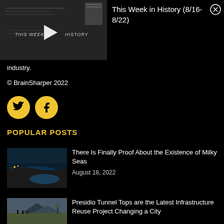[Figure (screenshot): Video thumbnail showing 'THIS WEEK IN HISTORY' text with play button overlay on dark background]
This Week in History (8/16- 8/22)
industry.
© BrainSharper 2022
[Figure (illustration): Twitter and Facebook social media icon circles in yellow/gold]
POPULAR POSTS
[Figure (photo): Thumbnail image of bioluminescent milky seas coastal scene]
There Is Finally Proof About the Existence of Milky Seas
August 18, 2022
[Figure (photo): Thumbnail image of Presidio Tunnel Tops landscape]
Presidio Tunnel Tops are the Latest Infrastructure Reuse Project Changing a City